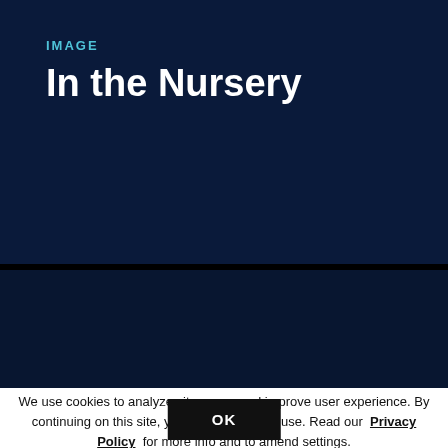IMAGE
In the Nursery
[Figure (other): Dark navy blue image placeholder area]
We use cookies to analyze site usage and improve user experience. By continuing on this site, you consent to their use. Read our Privacy Policy for more info and to amend settings.
OK